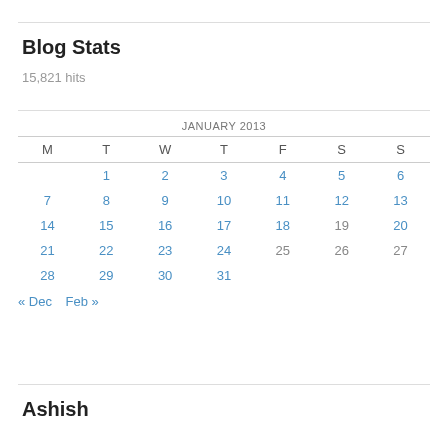Blog Stats
15,821 hits
| M | T | W | T | F | S | S |
| --- | --- | --- | --- | --- | --- | --- |
|  | 1 | 2 | 3 | 4 | 5 | 6 |
| 7 | 8 | 9 | 10 | 11 | 12 | 13 |
| 14 | 15 | 16 | 17 | 18 | 19 | 20 |
| 21 | 22 | 23 | 24 | 25 | 26 | 27 |
| 28 | 29 | 30 | 31 |  |  |  |
« Dec   Feb »
Ashish